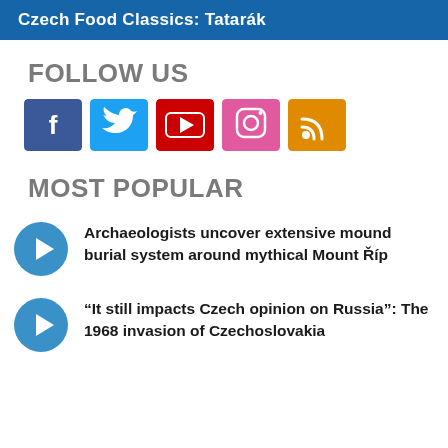Czech Food Classics: Tatarák
FOLLOW US
[Figure (infographic): Social media icons: Facebook (blue), Twitter (cyan), YouTube (red), Instagram (pink), RSS (orange)]
MOST POPULAR
Archaeologists uncover extensive mound burial system around mythical Mount Říp
“It still impacts Czech opinion on Russia”: The 1968 invasion of Czechoslovakia